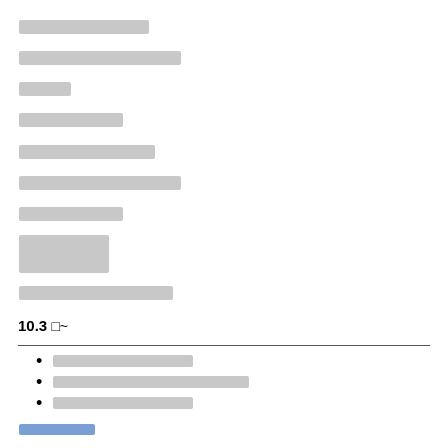[redacted]
[redacted]
[redacted]
[redacted]
[redacted]
[redacted]
[redacted]
[redacted]
[redacted]
10.3 [symbol]~
[redacted]
[redacted]
[redacted]
[redacted]